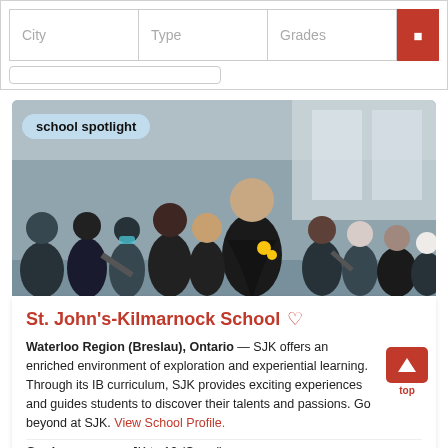| City | Type | Grades |  |
| --- | --- | --- | --- |
[Figure (photo): Group of students in school uniforms celebrating at what appears to be a graduation or awards ceremony. One student in a graduation gown holds yellow flowers. Many students applaud.]
school spotlight
St. John's-Kilmarnock School ♡
Waterloo Region (Breslau), Ontario — SJK offers an enriched environment of exploration and experiential learning. Through its IB curriculum, SJK provides exciting experiences and guides students to discover their talents and passions. Go beyond at SJK. View School Profile.
Grades JK to 12 (Co-ed)